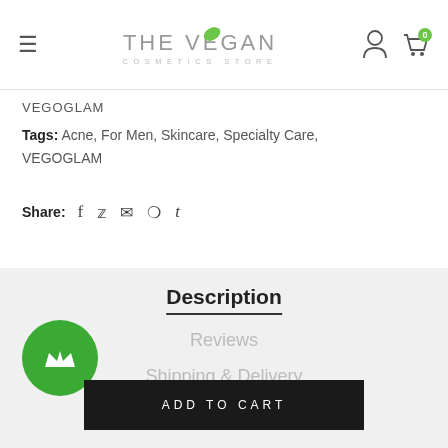THE VEGAN COSMETICS STORE
VEGOGLAM
Tags: Acne, For Men, Skincare, Specialty Care, VEGOGLAM
Share: f  y  ✉  ⊕  t
Description
Reviews
Shipping & Delivery
ADD TO CART